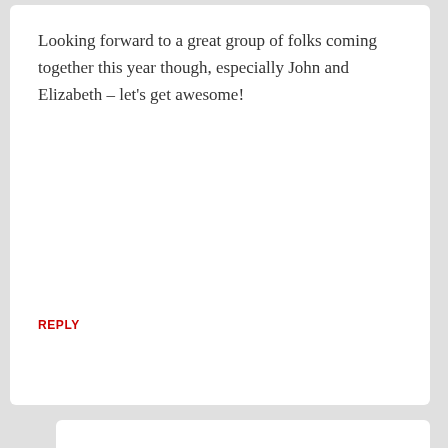Looking forward to a great group of folks coming together this year though, especially John and Elizabeth – let's get awesome!
REPLY
Martha  July 20, 2012 – 8:23 am
i'm missing Molly already...
REPLY